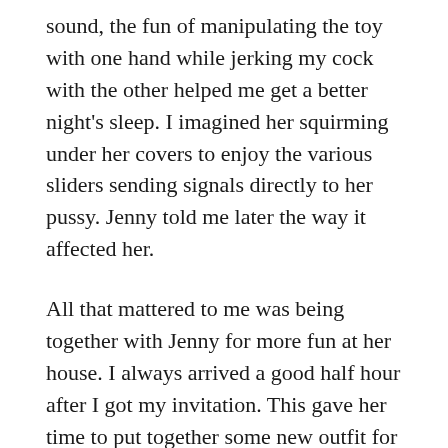sound, the fun of manipulating the toy with one hand while jerking my cock with the other helped me get a better night's sleep. I imagined her squirming under her covers to enjoy the various sliders sending signals directly to her pussy. Jenny told me later the way it affected her.
All that mattered to me was being together with Jenny for more fun at her house. I always arrived a good half hour after I got my invitation. This gave her time to put together some new outfit for me, as well as to do laundry, so none of what we were doing would leave traces.
Each day I looked forward to trying something new. My favourite position was doggie style because it allowed me to admire her body, enjoy her pussy around my cock, and fondle her breasts while we fucked. Although not her favourite she did enjoy the feel of my hands on her tits while my cock stimulated her clit. Eventually she learned to let my cock go